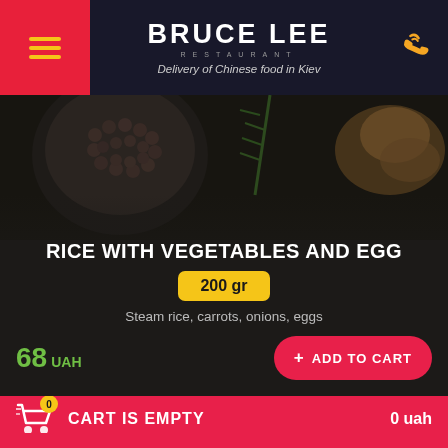Bruce Lee Restaurant — Delivery of Chinese food in Kiev
[Figure (photo): Dark background food photography showing spices, rosemary, ginger root on a dark surface]
RICE WITH VEGETABLES AND EGG
200 gr
Steam rice, carrots, onions, eggs
68 UAH
+ ADD TO CART
[Figure (photo): Dark background food photography showing rice grains, bowl of glazed meat, chopsticks, soy sauce dish]
CART IS EMPTY    0 uah